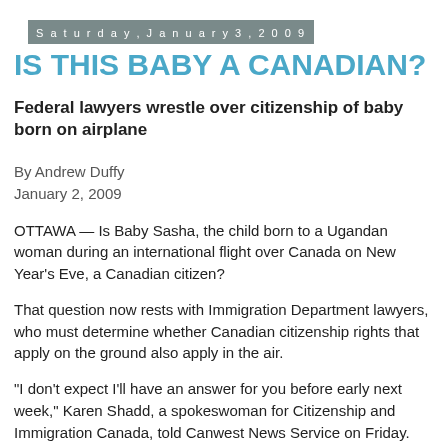Saturday, January 3, 2009
IS THIS BABY A CANADIAN?
Federal lawyers wrestle over citizenship of baby born on airplane
By Andrew Duffy
January 2, 2009
OTTAWA — Is Baby Sasha, the child born to a Ugandan woman during an international flight over Canada on New Year's Eve, a Canadian citizen?
That question now rests with Immigration Department lawyers, who must determine whether Canadian citizenship rights that apply on the ground also apply in the air.
"I don't expect I'll have an answer for you before early next week," Karen Shadd, a spokeswoman for Citizenship and Immigration Canada, told Canwest News Service on Friday.